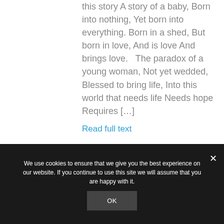this story A story of a baby, Born into nothing, Yet born into everything. Born in a shed, But born in love, And is love And brings love.   The paradox of a young woman, Not yet wedded, Blessed to bring life, Into this world that needs life Needs hope Requires […]
Read full text
We use cookies to ensure that we give you the best experience on our website. If you continue to use this site we will assume that you are happy with it.